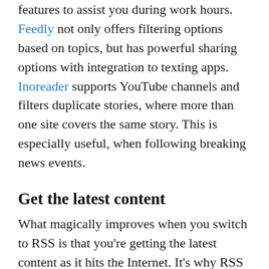features to assist you during work hours. Feedly not only offers filtering options based on topics, but has powerful sharing options with integration to texting apps. Inoreader supports YouTube channels and filters duplicate stories, where more than one site covers the same story. This is especially useful, when following breaking news events.
Get the latest content
What magically improves when you switch to RSS is that you're getting the latest content as it hits the Internet. It's why RSS exists in the first place – to inform you when your favorite